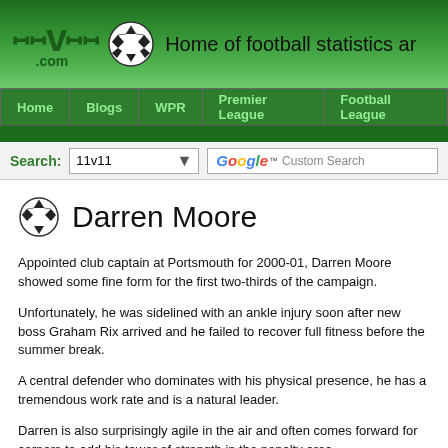11v11.com — Home of football statistics an...
Home | Blogs | WPR | Premier League | Football League
Search: 11v11 [dropdown] Google Custom Search
Darren Moore
Appointed club captain at Portsmouth for 2000-01, Darren Moore showed some fine form for the first two-thirds of the campaign.
Unfortunately, he was sidelined with an ankle injury soon after new boss Graham Rix arrived and he failed to recover full fitness before the summer break.
A central defender who dominates with his physical presence, he has a tremendous work rate and is a natural leader.
Darren is also surprisingly agile in the air and often comes forward for corners to add his tower of strength in the penalty area.